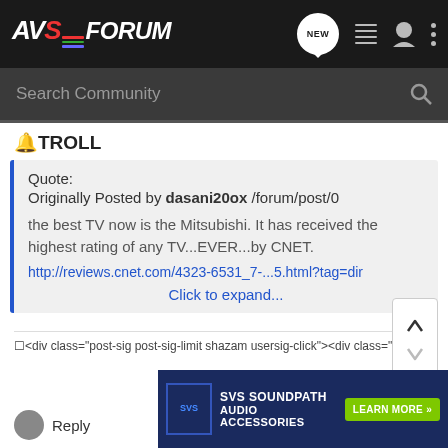AVSForum
Search Community
🔔TROLL
Quote:
Originally Posted by dasani20ox /forum/post/0

the best TV now is the Mitsubishi. It has received the highest rating of any TV...EVER...by CNET.
http://reviews.cnet.com/4323-6531_7-...5.html?tag=dir
Click to expand...
<div class="post-sig post-sig-limit shazam usersig-click"><div class="re…s
Reply